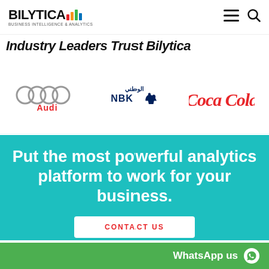BILYTICA - BUSINESS INTELLIGENCE & ANALYTICS
Industry Leaders Trust Bilytica
[Figure (logo): Audi logo with four rings and red 'Audi' text]
[Figure (logo): NBK (National Bank of Kuwait) logo with camel icon]
[Figure (logo): Coca-Cola logo in red script]
Put the most powerful analytics platform to work for your business.
CONTACT US
WhatsApp us